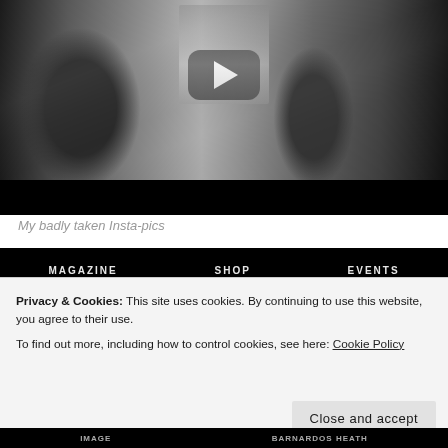[Figure (screenshot): A black and white photograph of people walking along the Thames embankment with the Houses of Parliament and Big Ben in the background. A YouTube-style play button overlay is visible in the center of the image, indicating this is a video thumbnail.]
My badly taken Insta-pics
[Figure (screenshot): A dark navigation bar with white text showing menu items, partially obscured by a cookie consent banner overlay.]
Privacy & Cookies: This site uses cookies. By continuing to use this website, you agree to their use.
To find out more, including how to control cookies, see here: Cookie Policy